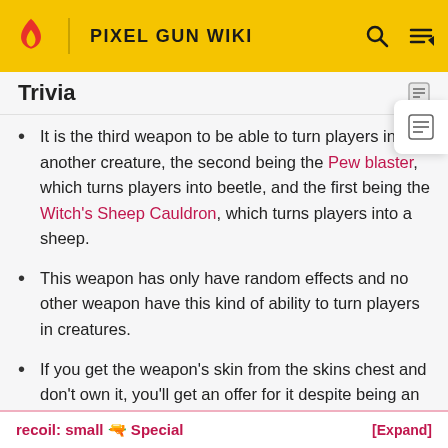PIXEL GUN WIKI
Trivia
It is the third weapon to be able to turn players into another creature, the second being the Pew blaster, which turns players into beetle, and the first being the Witch's Sheep Cauldron, which turns players into a sheep.
This weapon has only have random effects and no other weapon have this kind of ability to turn players in creatures.
If you get the weapon's skin from the skins chest and don't own it, you'll get an offer for it despite being an elite challenge weapon and still obtainable (as of now).
recoil: small 🔫 Special [Expand]